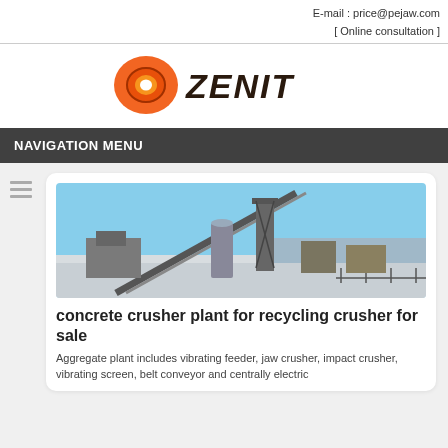E-mail : price@pejaw.com
[ Online consultation ]
[Figure (logo): Zenit company logo with orange oval eye icon and ZENIT text in dark brown bold italic font]
NAVIGATION MENU
[Figure (photo): Industrial aggregate/crusher plant facility photographed in winter, showing conveyor belts, steel structures, silos and snow-covered ground under blue sky]
concrete crusher plant for recycling crusher for sale
Aggregate plant includes vibrating feeder, jaw crusher, impact crusher, vibrating screen, belt conveyor and centrally electric